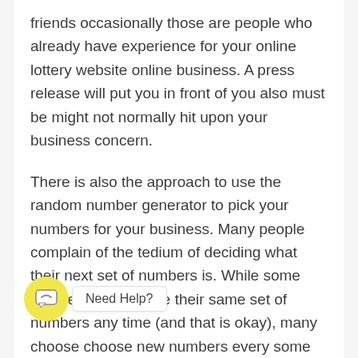friends occasionally those are people who already have experience for your online lottery website online business. A press release will put you in front of you also must be might not normally hit upon your business concern.
There is also the approach to use the random number generator to pick your numbers for your business. Many people complain of the tedium of deciding what their next set of numbers is. While some people decide to use their same set of numbers any time (and that is okay), many choose choose new numbers every some amount of time. The numbers chosen by the generator are completely random and are not equipped from any statistic or hot and cold number list. Are generally